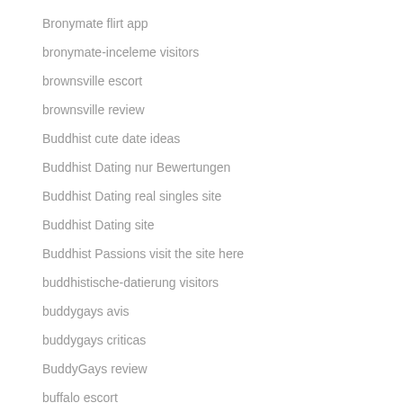Bronymate flirt app
bronymate-inceleme visitors
brownsville escort
brownsville review
Buddhist cute date ideas
Buddhist Dating nur Bewertungen
Buddhist Dating real singles site
Buddhist Dating site
Buddhist Passions visit the site here
buddhistische-datierung visitors
buddygays avis
buddygays criticas
BuddyGays review
buffalo escort
Buffalo+NY+New York hookup sites